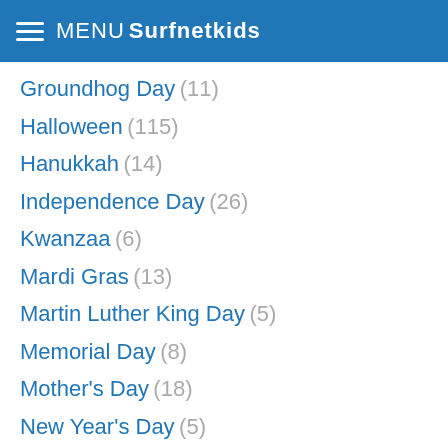MENU Surfnetkids
Groundhog Day (11)
Halloween (115)
Hanukkah (14)
Independence Day (26)
Kwanzaa (6)
Mardi Gras (13)
Martin Luther King Day (5)
Memorial Day (8)
Mother's Day (18)
New Year's Day (5)
Passover (29)
Presidents' Day (7)
Rosh Hashanah (5)
St. Patrick's Day (49)
Thanksgiving (48)
Valentine's Day (63)